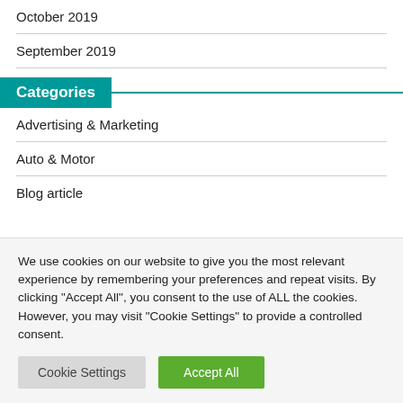October 2019
September 2019
Categories
Advertising & Marketing
Auto & Motor
Blog article
We use cookies on our website to give you the most relevant experience by remembering your preferences and repeat visits. By clicking "Accept All", you consent to the use of ALL the cookies. However, you may visit "Cookie Settings" to provide a controlled consent.